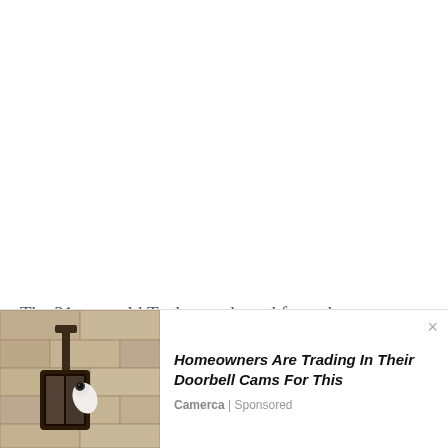The 31-year-old Taylor graduated from the University of California in Philosophy. Similarly, Lisa Bonder's son
[Figure (photo): Advertisement banner showing a security camera mounted on a stone wall, with an ad for 'Homeowners Are Trading In Their Doorbell Cams For This' by Camerca (Sponsored)]